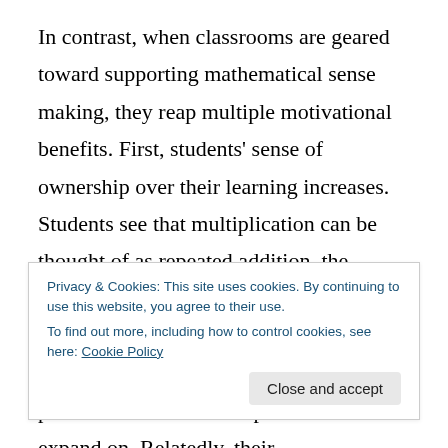In contrast, when classrooms are geared toward supporting mathematical sense making, they reap multiple motivational benefits. First, students' sense of ownership over their learning increases. Students see that multiplication can be thought of as repeated addition, the dimensions of a rectangle as related to its area, or the inverse of division. When they learn new types of multiplication, the procedures have a conceptual basis to expand on. Relatedly, their
Privacy & Cookies: This site uses cookies. By continuing to use this website, you agree to their use. To find out more, including how to control cookies, see here: Cookie Policy